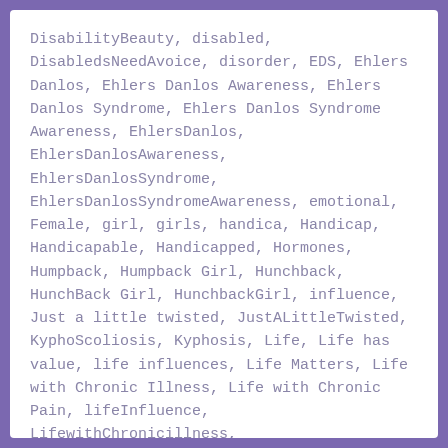DisabilityBeauty, disabled, DisabledsNeedAvoice, disorder, EDS, Ehlers Danlos, Ehlers Danlos Awareness, Ehlers Danlos Syndrome, Ehlers Danlos Syndrome Awareness, EhlersDanlos, EhlersDanlosAwareness, EhlersDanlosSyndrome, EhlersDanlosSyndromeAwareness, emotional, Female, girl, girls, handica, Handicap, Handicapable, Handicapped, Hormones, Humpback, Humpback Girl, Hunchback, HunchBack Girl, HunchbackGirl, influence, Just a little twisted, JustALittleTwisted, KyphoScoliosis, Kyphosis, Life, Life has value, life influences, Life Matters, Life with Chronic Illness, Life with Chronic Pain, lifeInfluence, LifewithChronicillness, LifewithChronicPain, Medicaid, Mental, Mental Health, MentalHealth, life